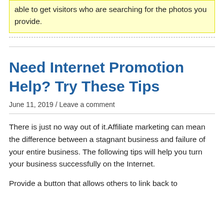searches. When you add relevant pictures to your site, you will be able to get visitors who are searching for the photos you provide.
Need Internet Promotion Help? Try These Tips
June 11, 2019 / Leave a comment
There is just no way out of it.Affiliate marketing can mean the difference between a stagnant business and failure of your entire business. The following tips will help you turn your business successfully on the Internet.
Provide a button that allows others to link back to